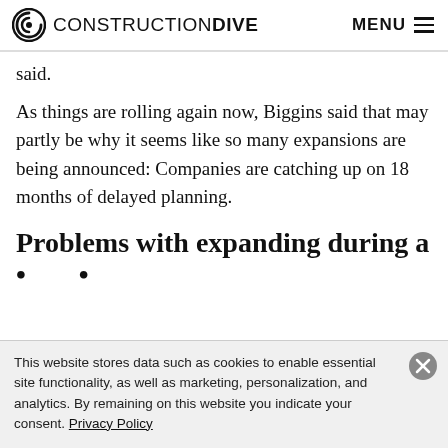CONSTRUCTION DIVE | MENU
said.
As things are rolling again now, Biggins said that may partly be why it seems like so many expansions are being announced: Companies are catching up on 18 months of delayed planning.
Problems with expanding during a
This website stores data such as cookies to enable essential site functionality, as well as marketing, personalization, and analytics. By remaining on this website you indicate your consent. Privacy Policy